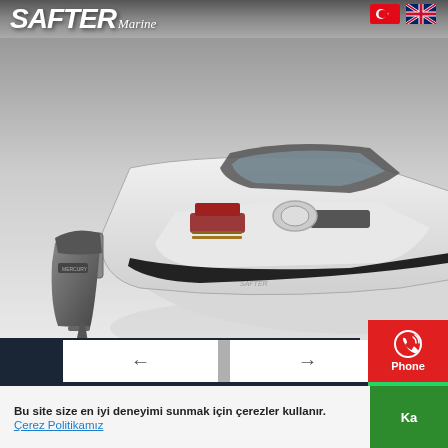SAFTER Marine
[Figure (photo): 3D rendering of a white fiberglass motorboat with Mercury outboard engine, cabin with dark roof, red/wood interior seating, viewed from front-left angle on grey gradient background]
[Figure (infographic): Navigation arrows (left and right) for image carousel, with white button panels]
[Figure (infographic): Red Phone contact button on right side with phone icon and 'Phone' label]
[Figure (infographic): Green Whatsapp contact button on right side with WhatsApp icon and 'Whatsapp' label]
Bu site size en iyi deneyimi sunmak için çerezler kullanır.
Çerez Politikamız